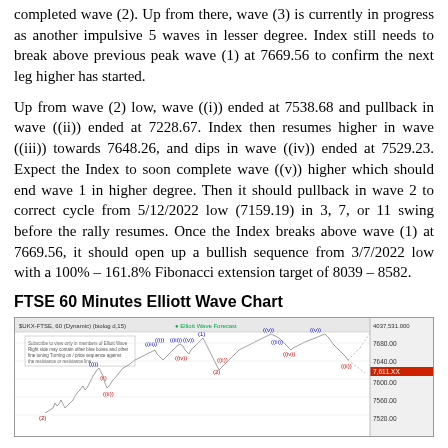completed wave (2). Up from there, wave (3) is currently in progress as another impulsive 5 waves in lesser degree. Index still needs to break above previous peak wave (1) at 7669.56 to confirm the next leg higher has started.
Up from wave (2) low, wave ((i)) ended at 7538.68 and pullback in wave ((ii)) ended at 7228.67. Index then resumes higher in wave ((iii)) towards 7648.26, and dips in wave ((iv)) ended at 7529.23. Expect the Index to soon complete wave ((v)) higher which should end wave 1 in higher degree. Then it should pullback in wave 2 to correct cycle from 5/12/2022 low (7159.19) in 3, 7, or 11 swing before the rally resumes. Once the Index breaks above wave (1) at 7669.56, it should open up a bullish sequence from 3/7/2022 low with a 100% – 161.8% Fibonacci extension target of 8039 – 8582.
FTSE 60 Minutes Elliott Wave Chart
[Figure (continuous-plot): FTSE 60-minute Elliott Wave chart showing price action with labeled wave counts including (i), (ii), (iii), (iv), (v), ((i)), ((ii)), ((iii)), ((iv)), and projected wave paths. Price range approximately 7480-7680. Chart labeled $UKX-FTSE, 60 (Dynamic) with Elliott Wave Forecast annotation.]